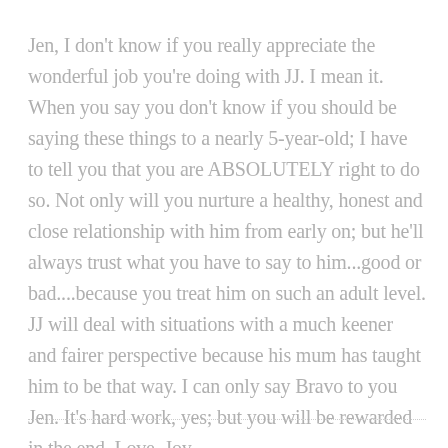Jen, I don't know if you really appreciate the wonderful job you're doing with JJ. I mean it. When you say you don't know if you should be saying these things to a nearly 5-year-old; I have to tell you that you are ABSOLUTELY right to do so. Not only will you nurture a healthy, honest and close relationship with him from early on; but he'll always trust what you have to say to him...good or bad....because you treat him on such an adult level. JJ will deal with situations with a much keener and fairer perspective because his mum has taught him to be that way. I can only say Bravo to you Jen. It's hard work, yes; but you will be rewarded in the end. Love, Joy